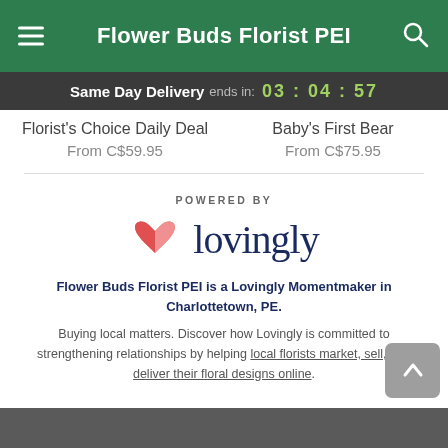Flower Buds Florist PEI
Same Day Delivery ends in: 03 : 04 : 57
Florist's Choice Daily Deal
From C$59.95
Baby's First Bear
From C$75.95
[Figure (logo): Lovingly logo with heart icon and wordmark, preceded by 'POWERED BY' text]
Flower Buds Florist PEI is a Lovingly Momentmaker in Charlottetown, PE.
Buying local matters. Discover how Lovingly is committed to strengthening relationships by helping local florists market, sell, and deliver their floral designs online.